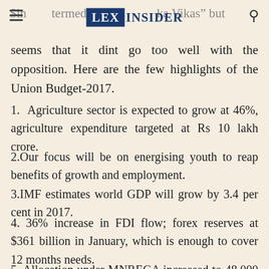LEX INSIDER
Since termed it 'Sabka Vikas' but seems that it dint go too well with the opposition. Here are the few highlights of the Union Budget-2017.
1. Agriculture sector is expected to grow at 46%, agriculture expenditure targeted at Rs 10 lakh crore.
2.Our focus will be on energising youth to reap benefits of growth and employment.
3.IMF estimates world GDP will grow by 3.4 per cent in 2017.
4. 36% increase in FDI flow; forex reserves at $361 billion in January, which is enough to cover 12 months needs.
5. Allocation under MNREGA increased to 48,000 crore from Rs 38,500 crore. This is highest ever allocation...